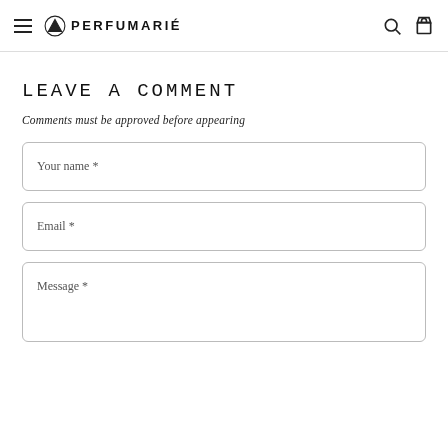≡ ▲ PERFUMARIÉ 🔍 🛍
LEAVE A COMMENT
Comments must be approved before appearing
Your name *
Email *
Message *